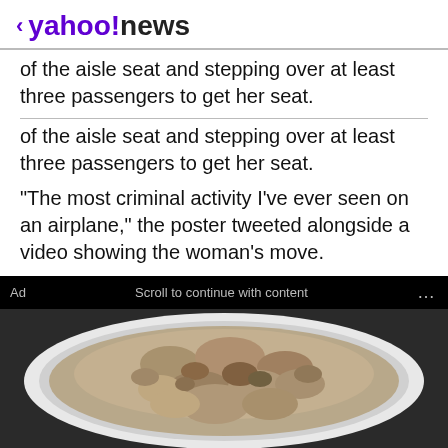< yahoo!news
of the aisle seat and stepping over at least three passengers to get her seat.
"The most criminal activity I've ever seen on an airplane," the poster tweeted alongside a video showing the woman's move.
Ad   Scroll to continue with content   ...
[Figure (photo): A bowl of oatmeal viewed from above, in a white bowl on a dark surface, used as an advertisement image.]
Gundry MD Total Restore
If You Eat Oatmeal Every Day, This Is What